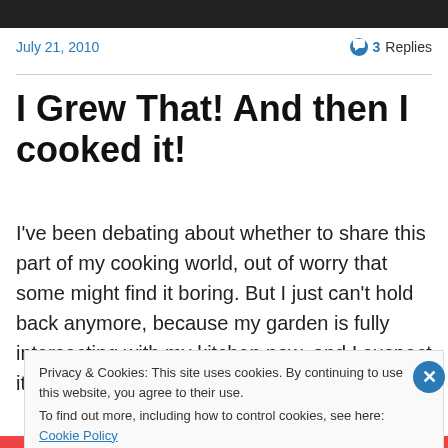[Figure (photo): Dark photo strip at the top of the page]
July 21, 2010    💬 3 Replies
I Grew That! And then I cooked it!
I've been debating about whether to share this part of my cooking world, out of worry that some might find it boring. But I just can't hold back anymore, because my garden is fully intersecting with my kitchen now, and I suspect it's
Privacy & Cookies: This site uses cookies. By continuing to use this website, you agree to their use.
To find out more, including how to control cookies, see here: Cookie Policy

Close and accept